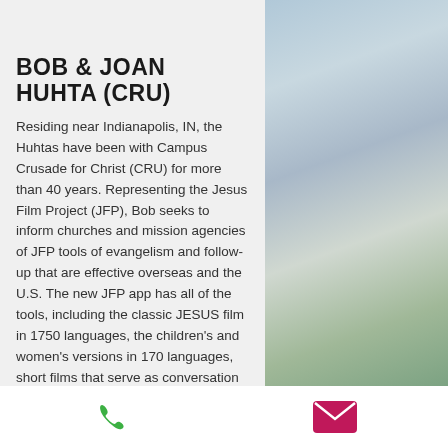[Figure (photo): Photo strip of Bob and Joan Huhta at top of card]
BOB & JOAN HUHTA (CRU)
Residing near Indianapolis, IN, the Huhtas have been with Campus Crusade for Christ (CRU) for more than 40 years. Representing the Jesus Film Project (JFP), Bob seeks to inform churches and mission agencies of JFP tools of evangelism and follow-up that are effective overseas and the U.S. The new JFP app has all of the tools, including the classic JESUS film in 1750 languages, the children's and women's versions in 170 languages, short films that serve as conversation starters, and one to three minute segments of the JESUS film and the Book of Acts to aid in Bible studies (check them out
[Figure (photo): Background mountain landscape photo on right side]
Phone and email contact icons